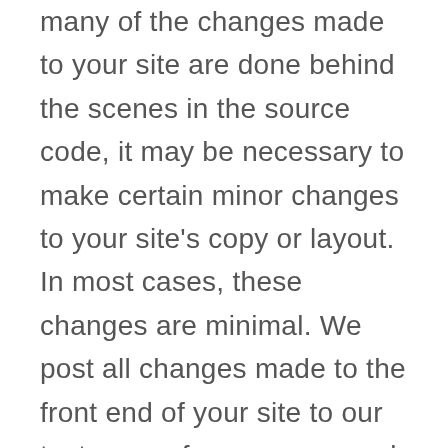many of the changes made to your site are done behind the scenes in the source code, it may be necessary to make certain minor changes to your site's copy or layout. In most cases, these changes are minimal. We post all changes made to the front end of your site to our test server for your approval before we go live with the changes. 12, Can I see how my competitors are ranking for my targeted keywords? Our company can provide you Site Competing Analysis, Keyword Analysis and Monthly Ranking Reports services. They can offer you a content and monthly